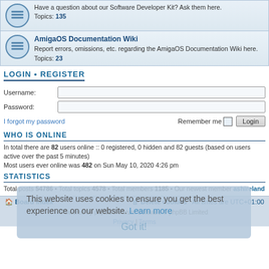Topics: 135
AmigaOS Documentation Wiki
Report errors, omissions, etc. regarding the AmigaOS Documentation Wiki here.
Topics: 23
LOGIN • REGISTER
Username:
Password:
I forgot my password
Remember me  Login
WHO IS ONLINE
In total there are 82 users online :: 0 registered, 0 hidden and 82 guests (based on users active over the past 5 minutes)
Most users ever online was 482 on Sun May 10, 2020 4:26 pm
STATISTICS
Total posts 54786 • Total topics 4578 • Total members 1185 • Our newest member ashireland
Board index  Delete cookies  All times are UTC+01:00
Powered by phpBB® Forum Software © phpBB Limited
Privacy | Terms
This website uses cookies to ensure you get the best experience on our website. Learn more
Got it!